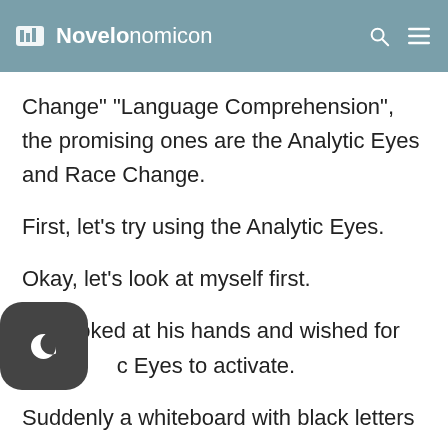Novelonomicon
Change" “Language Comprehension", the promising ones are the Analytic Eyes and Race Change.
First, let's try using the Analytic Eyes.
Okay, let's look at myself first.
Rei looked at his hands and wished for Analytic Eyes to activate.
Suddenly a whiteboard with black letters